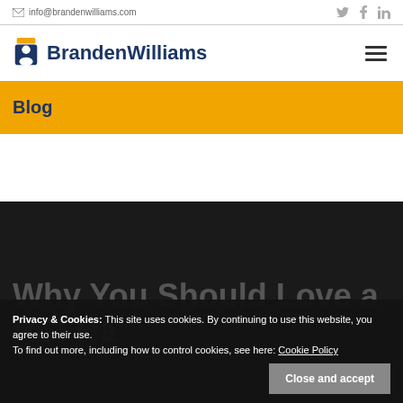info@brandenwilliams.com
BrandenWilliams
Blog
Privacy & Cookies: This site uses cookies. By continuing to use this website, you agree to their use.
To find out more, including how to control cookies, see here: Cookie Policy
Why You Should Love a PCI Ha[cker!]
Close and accept